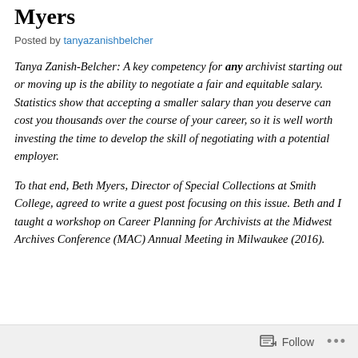Myers
Posted by tanyazanishbelcher
Tanya Zanish-Belcher: A key competency for any archivist starting out or moving up is the ability to negotiate a fair and equitable salary. Statistics show that accepting a smaller salary than you deserve can cost you thousands over the course of your career, so it is well worth investing the time to develop the skill of negotiating with a potential employer.
To that end, Beth Myers, Director of Special Collections at Smith College, agreed to write a guest post focusing on this issue. Beth and I taught a workshop on Career Planning for Archivists at the Midwest Archives Conference (MAC) Annual Meeting in Milwaukee (2016).
Follow ...